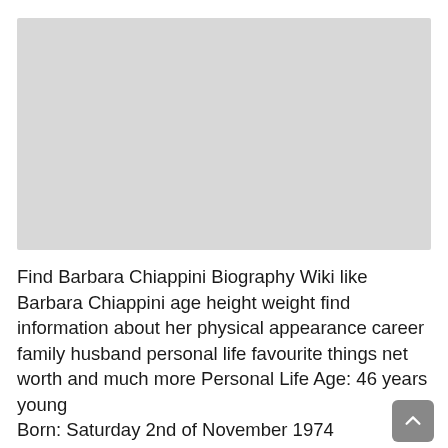[Figure (photo): Gray placeholder image area for Barbara Chiappini photo]
Find Barbara Chiappini Biography Wiki like Barbara Chiappini age height weight find information about her physical appearance career family husband personal life favourite things net worth and much more Personal Life Age: 46 years young Born: Saturday 2nd of November 1974 Birthplace: Piacenza, Italy Ethnicity: Caucasian